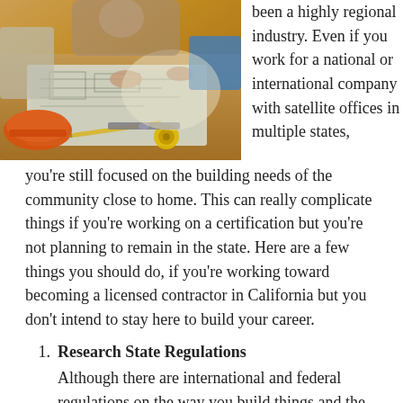[Figure (photo): Construction workers reviewing blueprints on a table with tools, hard hat visible, warm lighting]
been a highly regional industry. Even if you work for a national or international company with satellite offices in multiple states, you're still focused on the building needs of the community close to home. This can really complicate things if you're working on a certification but you're not planning to remain in the state. Here are a few things you should do, if you're working toward becoming a licensed contractor in California but you don't intend to stay here to build your career.
Research State Regulations
Although there are international and federal regulations on the way you build things and the types of work you can do with a license, most rules you will have to follow